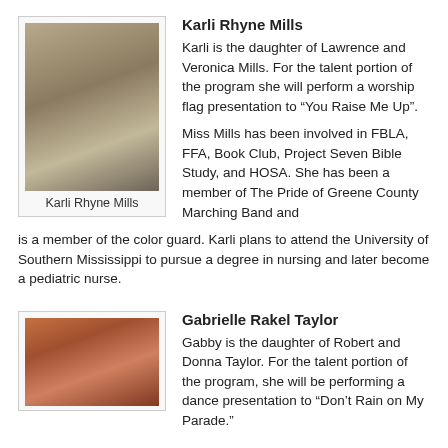[Figure (photo): Portrait photo of Karli Rhyne Mills, a young blonde woman smiling, with caption 'Karli Rhyne Mills']
Karli Rhyne Mills
Karli is the daughter of Lawrence and Veronica Mills. For the talent portion of the program she will perform a worship flag presentation to “You Raise Me Up”.
Miss Mills has been involved in FBLA, FFA, Book Club, Project Seven Bible Study, and HOSA. She has been a member of The Pride of Greene County Marching Band and is a member of the color guard. Karli plans to attend the University of Southern Mississippi to pursue a degree in nursing and later become a pediatric nurse.
[Figure (photo): Portrait photo of Gabrielle Rakel Taylor, a young woman smiling, wearing a red top]
Gabrielle Rakel Taylor
Gabby is the daughter of Robert and Donna Taylor. For the talent portion of the program, she will be performing a dance presentation to “Don’t Rain on My Parade.”